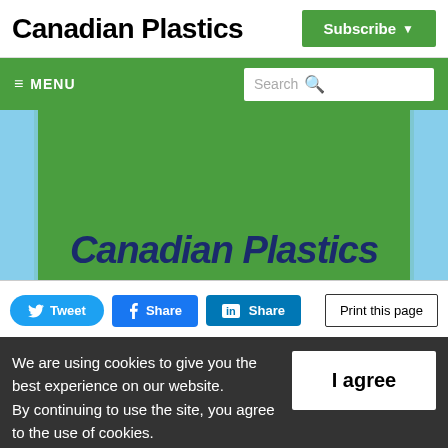Canadian Plastics
Subscribe
MENU  Search
[Figure (photo): Canadian Plastics magazine cover showing publication name in bold italic dark blue text on a green background with blue sky visible on the sides.]
Tweet  Share  Share  Print this page
We are using cookies to give you the best experience on our website.
By continuing to use the site, you agree to the use of cookies.
To find out more, read our privacy policy.